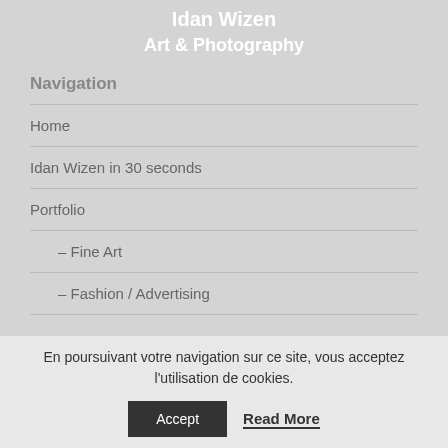Idan Wizen
Art & Photography
Navigation
Home
Idan Wizen in 30 seconds
Portfolio
– Fine Art
– Fashion / Advertising
En poursuivant votre navigation sur ce site, vous acceptez l'utilisation de cookies.
Accept
Read More